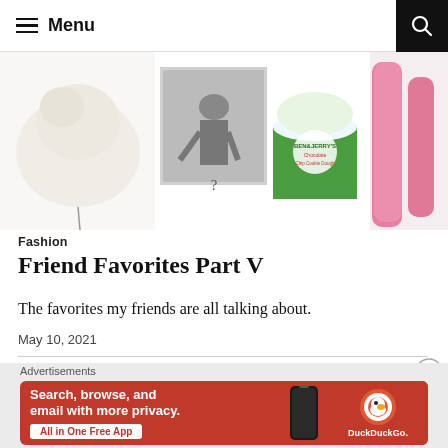Menu
[Figure (photo): Hero image strip showing a fluffy white dog, a black and white photo of a person, a Ben & Jerry's ice cream container, and pink fuzzy pants/legs]
Fashion
Friend Favorites Part V
The favorites my friends are all talking about.
May 10, 2021
[Figure (screenshot): DuckDuckGo advertisement banner. Text: Search, browse, and email with more privacy. All in One Free App. Shows DuckDuckGo logo and phone graphic.]